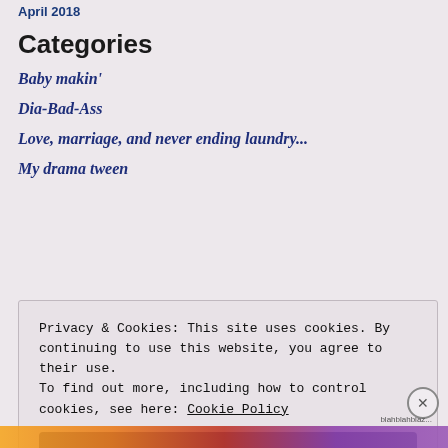April 2018
Categories
Baby makin'
Dia-Bad-Ass
Love, marriage, and never ending laundry...
My drama tween
Privacy & Cookies: This site uses cookies. By continuing to use this website, you agree to their use. To find out more, including how to control cookies, see here: Cookie Policy
Close and accept